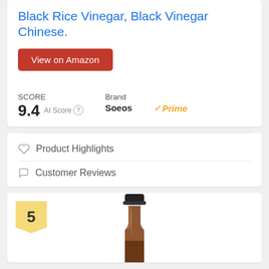Black Rice Vinegar, Black Vinegar Chinese.
View on Amazon
SCORE
9.4  AI Score
Brand
Soeos
Prime
Product Highlights
Customer Reviews
[Figure (photo): Top portion of a dark amber glass bottle with a black cap, product number 5 badge in lower left]